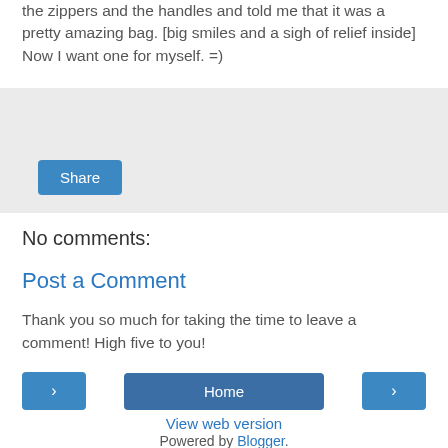the zippers and the handles and told me that it was a pretty amazing bag. [big smiles and a sigh of relief inside] Now I want one for myself. =)
[Figure (screenshot): A share button UI widget on a light gray background]
No comments:
Post a Comment
Thank you so much for taking the time to leave a comment! High five to you!
[Figure (screenshot): Navigation buttons: left arrow, Home, right arrow]
View web version
Powered by Blogger.